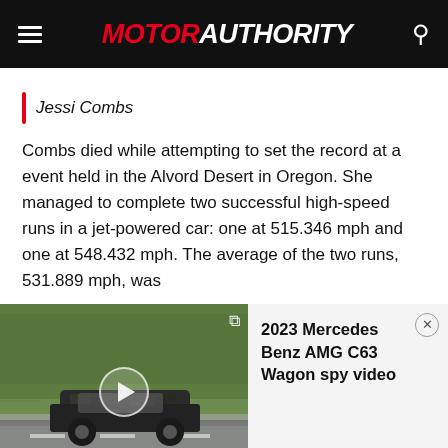MOTOR AUTHORITY
Jessi Combs
Combs died while attempting to set the record at a event held in the Alvord Desert in Oregon. She managed to complete two successful high-speed runs in a jet-powered car: one at 515.346 mph and one at 548.432 mph. The average of the two runs, 531.889 mph, was
[Figure (screenshot): Video thumbnail showing a camouflaged Mercedes-Benz AMG C63 Wagon driving on a road with trees in the background, with a play button overlay and Motor Authority watermark.]
2023 Mercedes Benz AMG C63 Wagon spy video